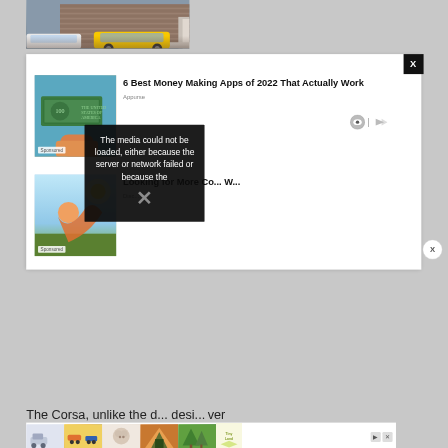[Figure (photo): Top portion of a street/house photo visible at top of page, partially cropped]
[Figure (screenshot): Advertisement popup overlay on white background with close X button in black square top-right]
6 Best Money Making Apps of 2022 That Actually Work
Appurse
[Figure (photo): Thumbnail image of $100 bills being held, with 'Sponsored' badge overlay]
Looking for More Co... W...
Disc...
[Figure (photo): Thumbnail image of person in sunlight with orange fabric, with 'Sponsored' badge overlay]
[Figure (screenshot): Black error overlay box with X mark and text: The media could not be loaded, either because the server or network failed or because the]
The media could not be loaded, either because the server or network failed or because the
The Corsa, unlike the d... desi... ver
[Figure (photo): Bottom banner ad strip showing several product thumbnails and Tiny Land logo]